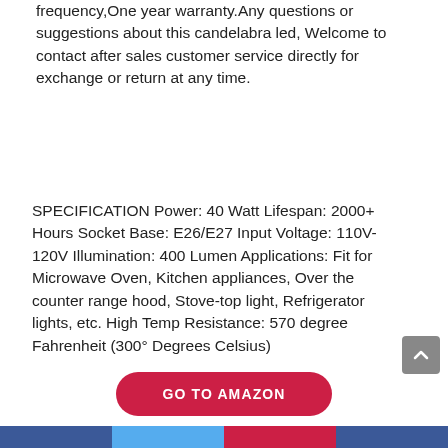frequency,One year warranty.Any questions or suggestions about this candelabra led, Welcome to contact after sales customer service directly for exchange or return at any time.
SPECIFICATION Power: 40 Watt Lifespan: 2000+ Hours Socket Base: E26/E27 Input Voltage: 110V-120V Illumination: 400 Lumen Applications: Fit for Microwave Oven, Kitchen appliances, Over the counter range hood, Stove-top light, Refrigerator lights, etc. High Temp Resistance: 570 degree Fahrenheit (300° Degrees Celsius)
GO TO AMAZON